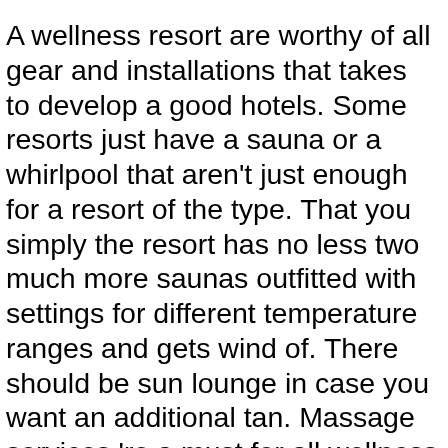A wellness resort are worthy of all gear and installations that takes to develop a good hotels. Some resorts just have a sauna or a whirlpool that aren't just enough for a resort of the type. That you simply the resort has no less two much more saunas outfitted with settings for different temperature ranges and gets wind of. There should be sun lounge in case you want an additional tan. Massage services 're a must for all wellness holiday rentals. Learn about design . of massage they offer, the medicative herbs used by massage, its health benefits etc. High quality ones have yoga centers too. Make sure the wellness resort gives yoga sittings through experienced yoga school teachers.
When massaging, work toward the middle. Veins take the blood toward soul & the arteries fro...